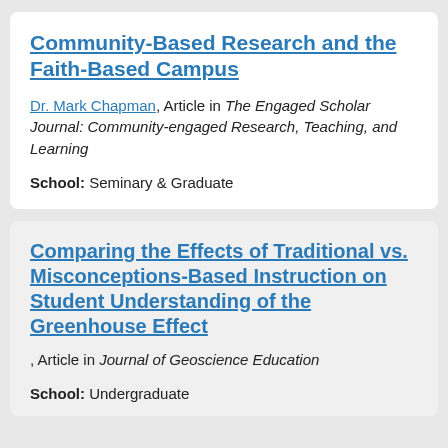Community-Based Research and the Faith-Based Campus
Dr. Mark Chapman, Article in The Engaged Scholar Journal: Community-engaged Research, Teaching, and Learning
School: Seminary & Graduate
Comparing the Effects of Traditional vs. Misconceptions-Based Instruction on Student Understanding of the Greenhouse Effect
, Article in Journal of Geoscience Education
School: Undergraduate